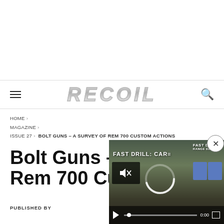RECOIL
HOME > MAGAZINE > ISSUE 27 > BOLT GUNS – A SURVEY OF REM 700 CUSTOM ACTIONS
Bolt Guns – a Survey of Rem 700 Custom Actions
PUBLISHED BY
[Figure (screenshot): Video player overlay showing 'FAST DRILL: CAR...' with play button, mute icon, progress bar showing 0:00, and blue target silhouettes in the background]